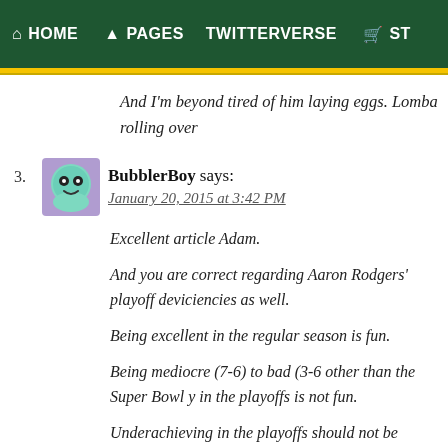HOME  PAGES  TWITTERVERSE  ST
And I'm beyond tired of him laying eggs. Lomba rolling over
3. BubblerBoy says:
January 20, 2015 at 3:42 PM

Excellent article Adam.

And you are correct regarding Aaron Rodgers' playoff deviciencies as well.

Being excellent in the regular season is fun.

Being mediocre (7-6) to bad (3-6 other than the Super Bowl y in the playoffs is not fun.

Underachieving in the playoffs should not be acceptable.